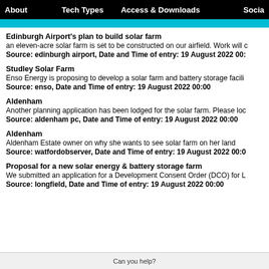About   Tech Types   Access & Downloads   Socia
Edinburgh Airport's plan to build solar farm
an eleven-acre solar farm is set to be constructed on our airfield. Work will c
Source: edinburgh airport, Date and Time of entry: 19 August 2022 00:
Studley Solar Farm
Enso Energy is proposing to develop a solar farm and battery storage facili
Source: enso, Date and Time of entry: 19 August 2022 00:00
Aldenham
Another planning application has been lodged for the solar farm. Please loc
Source: aldenham pc, Date and Time of entry: 19 August 2022 00:00
Aldenham
Aldenham Estate owner on why she wants to see solar farm on her land
Source: watfordobserver, Date and Time of entry: 19 August 2022 00:0
Proposal for a new solar energy & battery storage farm
We submitted an application for a Development Consent Order (DCO) for L
Source: longfield, Date and Time of entry: 19 August 2022 00:00
Can you help?